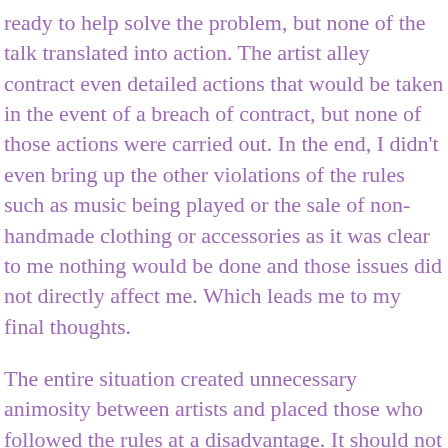ready to help solve the problem, but none of the talk translated into action. The artist alley contract even detailed actions that would be taken in the event of a breach of contract, but none of those actions were carried out. In the end, I didn't even bring up the other violations of the rules such as music being played or the sale of non-handmade clothing or accessories as it was clear to me nothing would be done and those issues did not directly affect me. Which leads me to my final thoughts.
The entire situation created unnecessary animosity between artists and placed those who followed the rules at a disadvantage. It should not have fallen on me to alert staff of violations. It should not have been my responsibility to provide the names of those violating the rules in order for there to have been action. Staff should have been aware of what products were being sold in their artist alley especially given that this was a juried